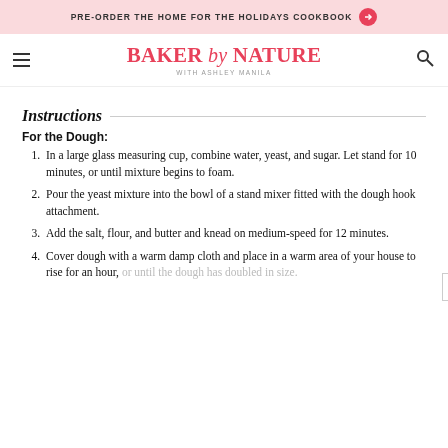PRE-ORDER THE HOME FOR THE HOLIDAYS COOKBOOK →
BAKER by NATURE WITH ASHLEY MANILA
Instructions
For the Dough:
In a large glass measuring cup, combine water, yeast, and sugar. Let stand for 10 minutes, or until mixture begins to foam.
Pour the yeast mixture into the bowl of a stand mixer fitted with the dough hook attachment.
Add the salt, flour, and butter and knead on medium-speed for 12 minutes.
Cover dough with a warm damp cloth and place in a warm area of your house to rise for an hour, or until the dough has doubled in size.